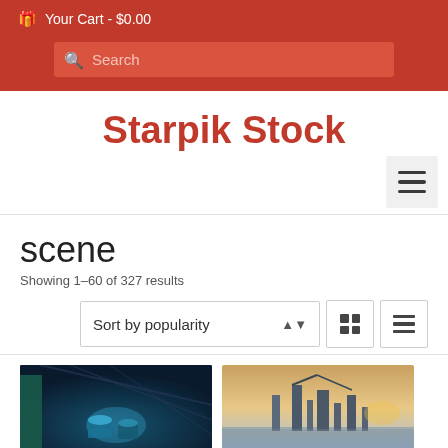Your Cart - $0.00
Search
Starpik Stock
[Figure (infographic): Hamburger menu button (three horizontal lines icon) on a light gray background]
scene
Showing 1–60 of 327 results
Sort by popularity
[Figure (screenshot): Dark blue/teal indoor scene with lighting effects and cylinders]
[Figure (screenshot): Outdoor industrial/cityscape scene at sunset with cranes or towers]